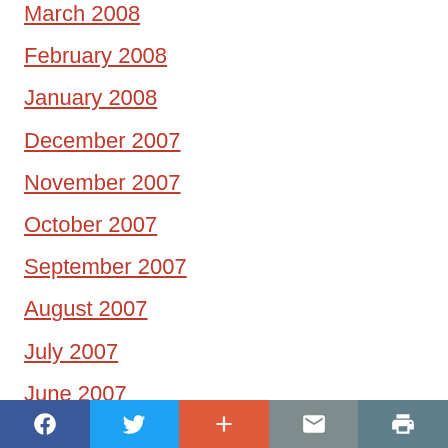March 2008
February 2008
January 2008
December 2007
November 2007
October 2007
September 2007
August 2007
July 2007
June 2007